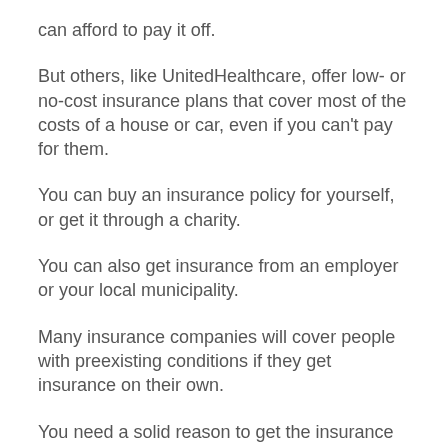can afford to pay it off.
But others, like UnitedHealthcare, offer low- or no-cost insurance plans that cover most of the costs of a house or car, even if you can't pay for them.
You can buy an insurance policy for yourself, or get it through a charity.
You can also get insurance from an employer or your local municipality.
Many insurance companies will cover people with preexisting conditions if they get insurance on their own.
You need a solid reason to get the insurance You don't necessarily need to have a bad credit history to get an insurance plan, even with good credit, but if you have trouble getting credit or owe money, you may need a reason to buy insurance.